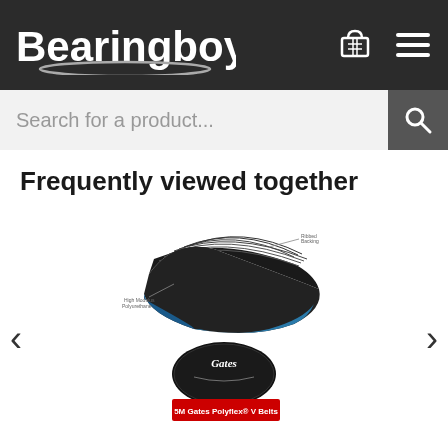Bearingboys
Search for a product...
Frequently viewed together
[Figure (photo): Product image of 5M Gates Polyflex V Belts showing a ribbed V-belt with Gates logo and red label reading '5M Gates Polyflex® V Belts']
5M825 Polyflex PU V Belt (Please enquire for ...
£20.33
Customer Service
My Account